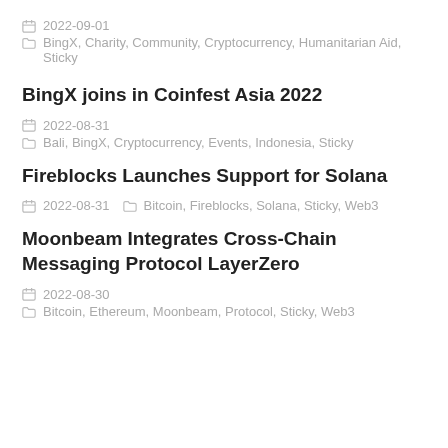2022-09-01
BingX, Charity, Community, Cryptocurrency, Humanitarian Aid, Sticky
BingX joins in Coinfest Asia 2022
2022-08-31
Bali, BingX, Cryptocurrency, Events, Indonesia, Sticky
Fireblocks Launches Support for Solana
2022-08-31  Bitcoin, Fireblocks, Solana, Sticky, Web3
Moonbeam Integrates Cross-Chain Messaging Protocol LayerZero
2022-08-30
Bitcoin, Ethereum, Moonbeam, Protocol, Sticky, Web3